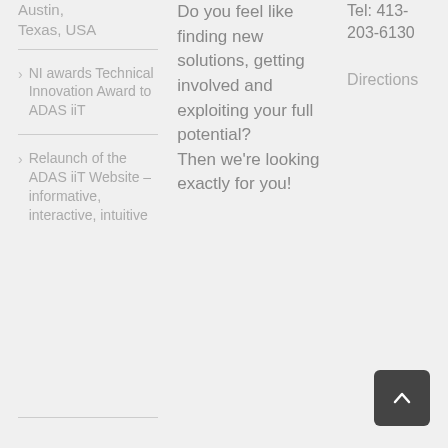Austin, Texas, USA
NI awards Technical Innovation Award to ADAS iiT
Relaunch of the ADAS iiT Website – informative, interactive, intuitive
Do you feel like finding new solutions, getting involved and exploiting your full potential? Then we're looking exactly for you!
Tel: 413-203-6130
Directions